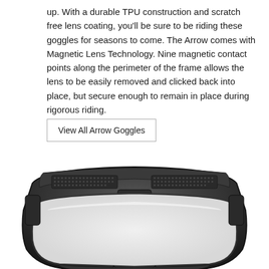up. With a durable TPU construction and scratch free lens coating, you'll be sure to be riding these goggles for seasons to come. The Arrow comes with Magnetic Lens Technology. Nine magnetic contact points along the perimeter of the frame allows the lens to be easily removed and clicked back into place, but secure enough to remain in place during rigorous riding.
View All Arrow Goggles
[Figure (photo): Front-facing photograph of black Arrow ski/snowboard goggles showing the TPU frame, ventilation mesh along the top, and clear lens, viewed straight-on against a white background.]